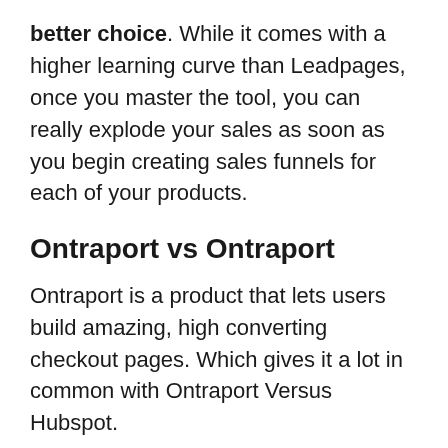better choice. While it comes with a higher learning curve than Leadpages, once you master the tool, you can really explode your sales as soon as you begin creating sales funnels for each of your products.
Ontraport vs Ontraport
Ontraport is a product that lets users build amazing, high converting checkout pages. Which gives it a lot in common with Ontraport Versus Hubspot.
Ontraport is geared towards getting setup and selling fast. It supports both Stripe and Paypal and it includes 17 distinct checkout page templates